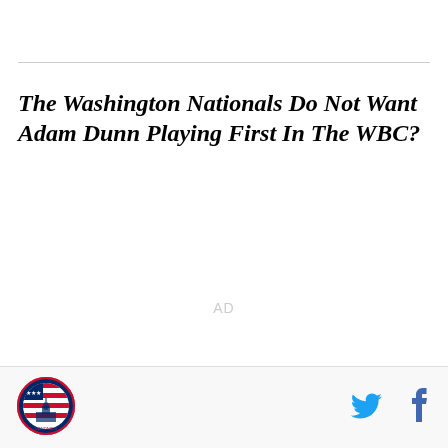The Washington Nationals Do Not Want Adam Dunn Playing First In The WBC?
AD
[Figure (logo): Washington Nationals circular logo with American flag design and Capitol building silhouette]
[Figure (logo): Twitter bird icon in blue]
[Figure (logo): Facebook f icon in dark blue]